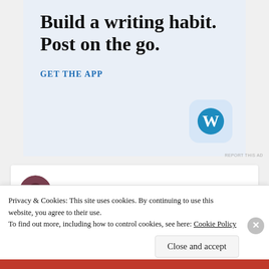[Figure (illustration): WordPress app advertisement banner with light blue background. Large serif text reads 'Build a writing habit. Post on the go.' with a blue 'GET THE APP' call to action link and the WordPress 'W' logo icon in the bottom right.]
REPORT THIS AD
Dracul Van Helsing
Privacy & Cookies: This site uses cookies. By continuing to use this website, you agree to their use.
To find out more, including how to control cookies, see here: Cookie Policy
Close and accept